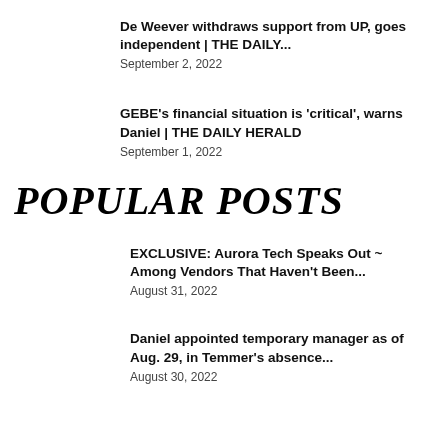De Weever withdraws support from UP, goes independent | THE DAILY...
September 2, 2022
GEBE's financial situation is 'critical', warns Daniel | THE DAILY HERALD
September 1, 2022
POPULAR POSTS
EXCLUSIVE: Aurora Tech Speaks Out ~ Among Vendors That Haven't Been...
August 31, 2022
Daniel appointed temporary manager as of Aug. 29, in Temmer's absence...
August 30, 2022